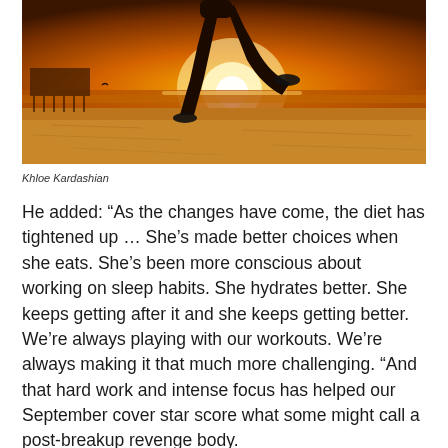[Figure (photo): A person running or jumping on a beach at sunset, silhouetted against a bright golden sun. A pier is visible in the background on the left. The sand is golden-brown and the sky is orange and yellow.]
Khloe Kardashian
He added: “As the changes have come, the diet has tightened up … She’s made better choices when she eats. She’s been more conscious about working on sleep habits. She hydrates better. She keeps getting after it and she keeps getting better. We’re always playing with our workouts. We’re always making it that much more challenging. “And that hard work and intense focus has helped our September cover star score what some might call a post-breakup revenge body.